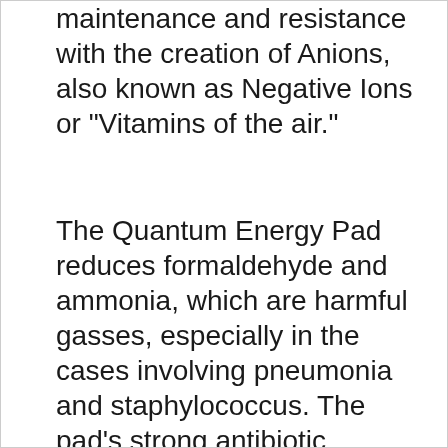maintenance and resistance with the creation of Anions, also known as Negative Ions or "Vitamins of the air."
The Quantum Energy Pad reduces formaldehyde and ammonia, which are harmful gasses, especially in the cases involving pneumonia and staphylococcus. The pad's strong antibiotic function reduces these gasses by 99.9%. Stability of Brain Waves